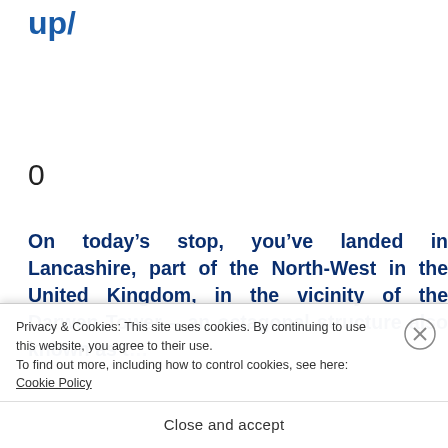up/
0
On today’s stop, you’ve landed in Lancashire, part of the North-West in the United Kingdom, in the vicinity of the Darwen Tower – an octagonal structure also known as t…
Privacy & Cookies: This site uses cookies. By continuing to use this website, you agree to their use.
To find out more, including how to control cookies, see here: Cookie Policy
Close and accept